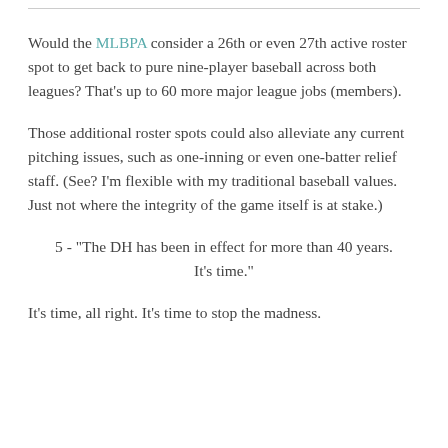Would the MLBPA consider a 26th or even 27th active roster spot to get back to pure nine-player baseball across both leagues? That's up to 60 more major league jobs (members).
Those additional roster spots could also alleviate any current pitching issues, such as one-inning or even one-batter relief staff. (See? I'm flexible with my traditional baseball values. Just not where the integrity of the game itself is at stake.)
5 - "The DH has been in effect for more than 40 years. It's time."
It's time, all right. It's time to stop the madness.